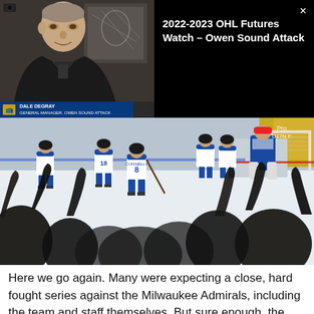[Figure (screenshot): Video thumbnail of a man in a dark jacket speaking, with a name bar overlay reading 'DALE DEGRAY' and a title below. Background shows a room with framed artwork.]
[Figure (screenshot): Black panel with white text reading '2022-2023 OHL Futures Watch – Owen Sound Attack' and a close (X) button in top right corner.]
[Figure (photo): Hockey action photo showing players in white and blue jerseys on the ice, with a crowd in the foreground silhouetted in shadow. Player number 8 is visible with name CONNELLY on jersey.]
Here we go again. Many were expecting a close, hard fought series against the Milwaukee Admirals, including the team and staff themselves. But sure enough, the blue and white